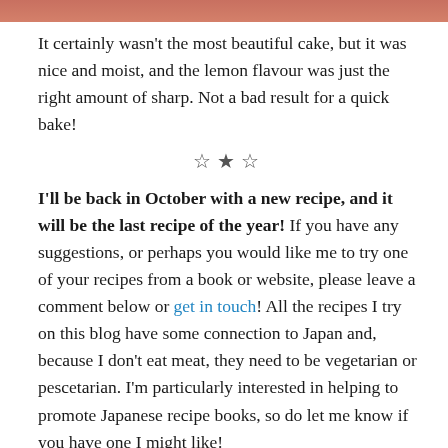[Figure (photo): Top portion of a food photo, showing a pink/salmon colored background or cake surface]
It certainly wasn't the most beautiful cake, but it was nice and moist, and the lemon flavour was just the right amount of sharp. Not a bad result for a quick bake!
☆★☆
I'll be back in October with a new recipe, and it will be the last recipe of the year! If you have any suggestions, or perhaps you would like me to try one of your recipes from a book or website, please leave a comment below or get in touch! All the recipes I try on this blog have some connection to Japan and, because I don't eat meat, they need to be vegetarian or pescetarian. I'm particularly interested in helping to promote Japanese recipe books, so do let me know if you have one I might like!